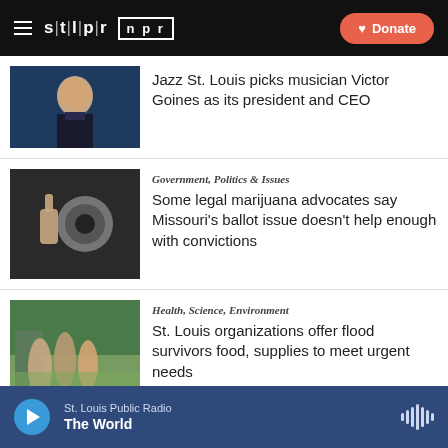STLPR | NPR — Donate
[Figure (photo): Man in suit with saxophone]
Jazz St. Louis picks musician Victor Goines as its president and CEO
[Figure (photo): Hands holding a cannabis product]
Government, Politics & Issues
Some legal marijuana advocates say Missouri's ballot issue doesn't help enough with convictions
[Figure (photo): People wading through floodwater]
Health, Science, Environment
St. Louis organizations offer flood survivors food, supplies to meet urgent needs
St. Louis Public Radio — The World